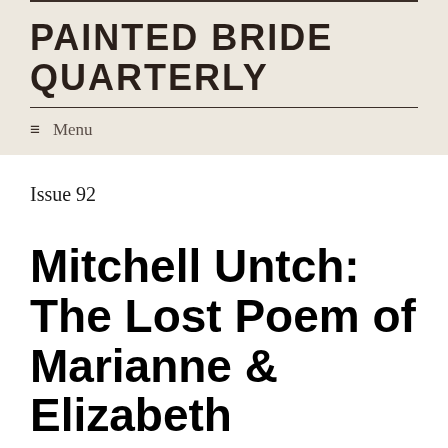PAINTED BRIDE QUARTERLY
≡  Menu
Issue 92
Mitchell Untch: The Lost Poem of Marianne & Elizabeth